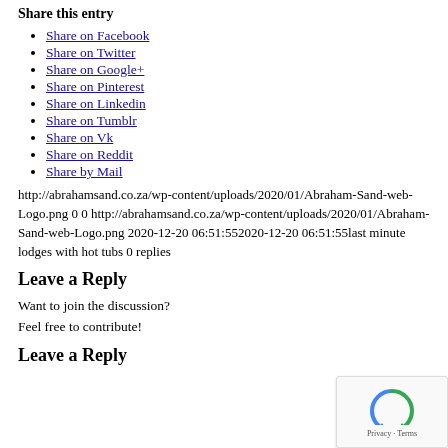Share this entry
Share on Facebook
Share on Twitter
Share on Google+
Share on Pinterest
Share on Linkedin
Share on Tumblr
Share on Vk
Share on Reddit
Share by Mail
http://abrahamsand.co.za/wp-content/uploads/2020/01/Abraham-Sand-web-Logo.png 0 0 http://abrahamsand.co.za/wp-content/uploads/2020/01/Abraham-Sand-web-Logo.png 2020-12-20 06:51:552020-12-20 06:51:55last minute lodges with hot tubs 0 replies
Leave a Reply
Want to join the discussion?
Feel free to contribute!
Leave a Reply